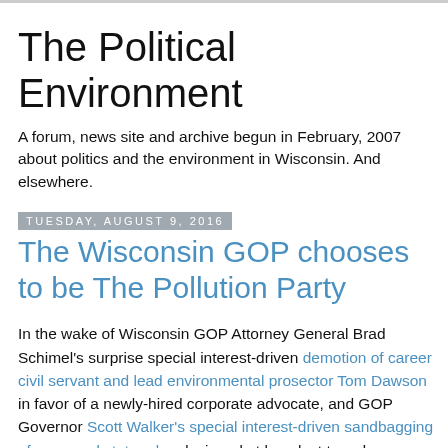The Political Environment
A forum, news site and archive begun in February, 2007 about politics and the environment in Wisconsin. And elsewhere.
Tuesday, August 9, 2016
The Wisconsin GOP chooses to be The Pollution Party
In the wake of Wisconsin GOP Attorney General Brad Schimel's surprise special interest-driven demotion of career civil servant and lead environmental prosector Tom Dawson in favor of a newly-hired corporate advocate, and GOP Governor Scott Walker's special interest-driven sandbagging of proposed state rules designed at long last to reduce widespread drinking water contamination near the manure-generating industrial-scale feedlots his administration is permitted to expand above previously-acting